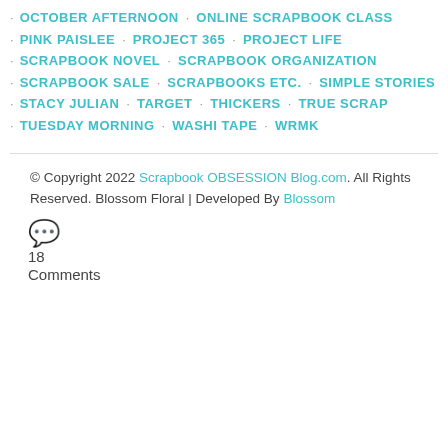OCTOBER AFTERNOON · ONLINE SCRAPBOOK CLASS
PINK PAISLEE · PROJECT 365 · PROJECT LIFE
SCRAPBOOK NOVEL · SCRAPBOOK ORGANIZATION
SCRAPBOOK SALE · SCRAPBOOKS ETC. · SIMPLE STORIES
STACY JULIAN · TARGET · THICKERS · TRUE SCRAP
TUESDAY MORNING · WASHI TAPE · WRMK
© Copyright 2022 Scrapbook OBSESSION Blog.com. All Rights Reserved. Blossom Floral | Developed By Blossom
18 Comments